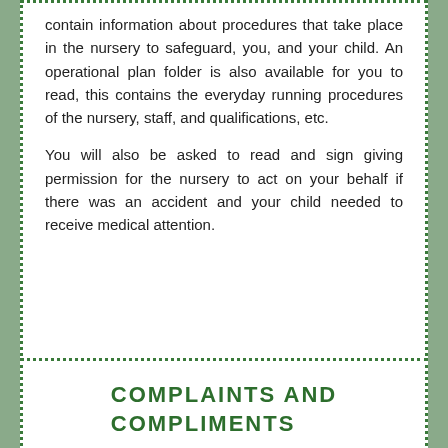contain information about procedures that take place in the nursery to safeguard, you, and your child. An operational plan folder is also available for you to read, this contains the everyday running procedures of the nursery, staff, and qualifications, etc.

You will also be asked to read and sign giving permission for the nursery to act on your behalf if there was an accident and your child needed to receive medical attention.
COMPLAINTS AND COMPLIMENTS